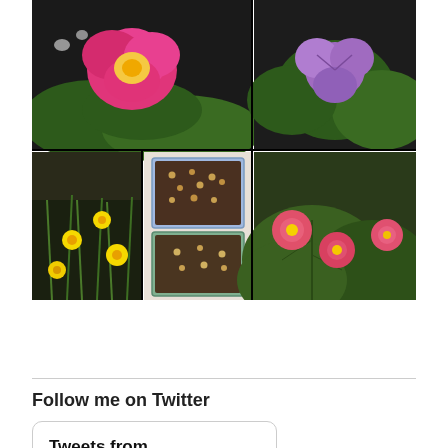[Figure (photo): Photo collage of garden flowers and plants: top-left shows pink and yellow primrose flower close-up on dark background; top-right shows purple violet flower with green leaves on dark soil; bottom-left shows yellow wildflowers in grass; bottom-center shows seed trays with soil and small seedlings; bottom-right shows pink primrose flowers with green leaves.]
[Figure (other): Pagination dots: 18 dots in a row with the second dot highlighted darker, and 2 more dots on a second row below centered.]
Follow me on Twitter
Tweets from @rosieamber1